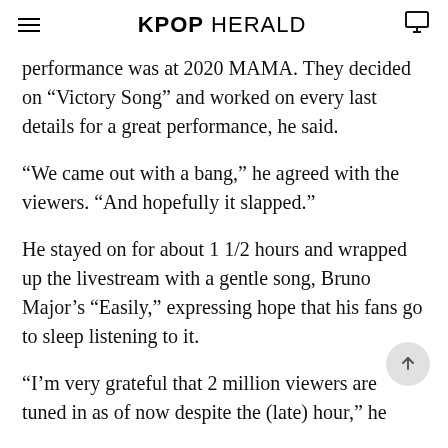KPOP HERALD
performance was at 2020 MAMA. They decided on “Victory Song” and worked on every last details for a great performance, he said.
“We came out with a bang,” he agreed with the viewers. “And hopefully it slapped.”
He stayed on for about 1 1/2 hours and wrapped up the livestream with a gentle song, Bruno Major’s “Easily,” expressing hope that his fans go to sleep listening to it.
“I’m very grateful that 2 million viewers are tuned in as of now despite the (late) hour,” he